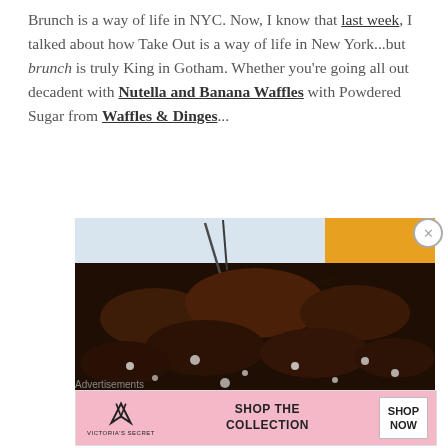Brunch is a way of life in NYC. Now, I know that last week, I talked about how Take Out is a way of life in New York...but brunch is truly King in Gotham. Whether you're going all out decadent with Nutella and Banana Waffles with Powdered Sugar from Waffles & Dinges...
[Figure (photo): Close-up photo of a waffle covered in Nutella and banana toppings with powdered sugar, with a yellow Waffles & Dinges box visible in the background]
Advertisements
[Figure (infographic): Victoria's Secret advertisement banner with pink background, VS logo, text reading SHOP THE COLLECTION, and a SHOP NOW button]